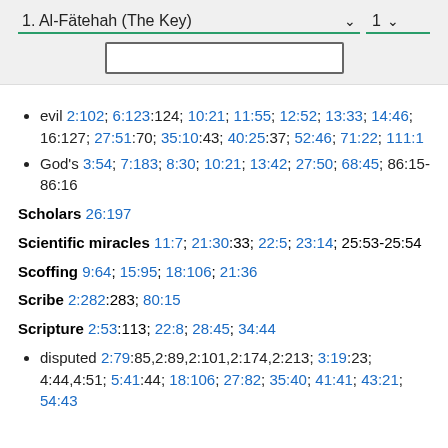1. Al-Fätehah (The Key)  1
evil 2:102; 6:123:124; 10:21; 11:55; 12:52; 13:33; 14:46; 16:127; 27:51:70; 35:10:43; 40:25:37; 52:46; 71:22; 111:1
God's 3:54; 7:183; 8:30; 10:21; 13:42; 27:50; 68:45; 86:15-86:16
Scholars 26:197
Scientific miracles 11:7; 21:30:33; 22:5; 23:14; 25:53-25:54
Scoffing 9:64; 15:95; 18:106; 21:36
Scribe 2:282:283; 80:15
Scripture 2:53:113; 22:8; 28:45; 34:44
disputed 2:79:85,2:89,2:101,2:174,2:213; 3:19:23; 4:44,4:51; 5:41:44; 18:106; 27:82; 35:40; 41:41; 43:21; 54:43